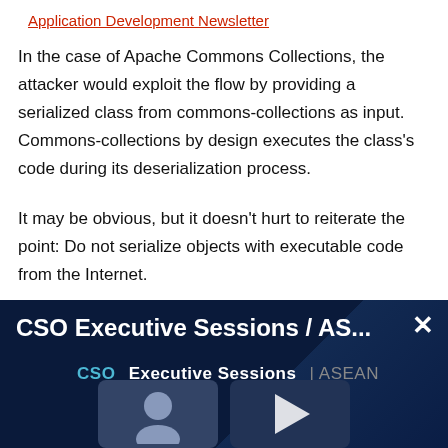Application Development Newsletter
In the case of Apache Commons Collections, the attacker would exploit the flow by providing a serialized class from commons-collections as input. Commons-collections by design executes the class's code during its deserialization process.
It may be obvious, but it doesn't hurt to reiterate the point: Do not serialize objects with executable code from the Internet.
[Figure (screenshot): Advertisement banner for CSO Executive Sessions / ASEAN with dark blue background, showing title 'CSO Executive Sessions / AS...' with a close button, subtitle 'CSO Executive Sessions | ASEAN', and two thumbnail images at the bottom.]